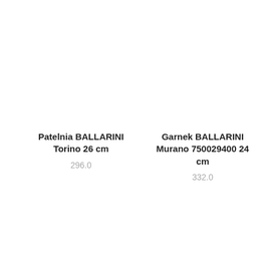Patelnia BALLARINI Torino 26 cm
296.0
Garnek BALLARINI Murano 750029400 24 cm
332.0